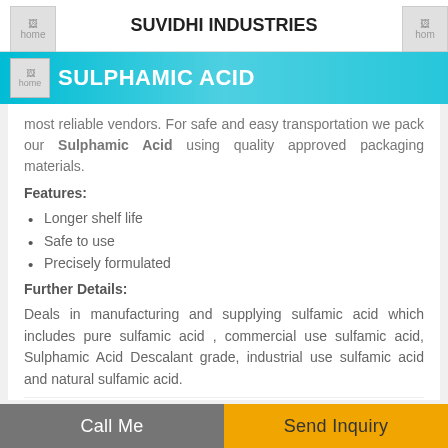SUVIDHI INDUSTRIES
SULPHAMIC ACID
most reliable vendors. For safe and easy transportation we pack our Sulphamic Acid using quality approved packaging materials.
Features:
Longer shelf life
Safe to use
Precisely formulated
Further Details:
Deals in manufacturing and supplying sulfamic acid which includes pure sulfamic acid , commercial use sulfamic acid, Sulphamic Acid Descalant grade, industrial use sulfamic acid and natural sulfamic acid.
FIELD OF APPLICATIONS: